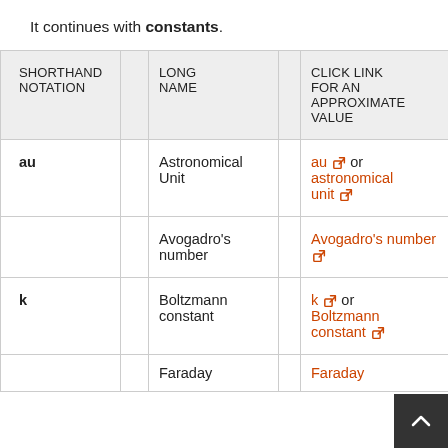It continues with constants.
| SHORTHAND NOTATION |  | LONG NAME |  | CLICK LINK FOR AN APPROXIMATE VALUE |
| --- | --- | --- | --- | --- |
| au |  | Astronomical Unit |  | au [icon] or astronomical unit [icon] |
|  |  | Avogadro's number |  | Avogadro's number [icon] |
| k |  | Boltzmann constant |  | k [icon] or Boltzmann constant [icon] |
|  |  | Faraday |  | Faraday |